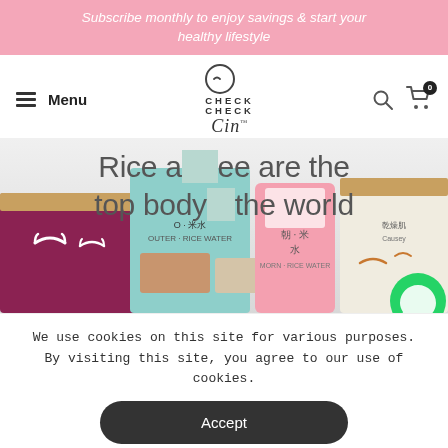Subscribe monthly to enjoy savings & start your healthy lifestyle
[Figure (logo): CheckCheckCin logo with stylized face icon above text CHECK CHECK Cin with TM mark]
[Figure (photo): Hero image showing various CheckCheckCin skincare/beauty products including boxes and bottles with Chinese text. Overlay text reads: Rice a[nd coff]ee are the top body [care in] the world]
We use cookies on this site for various purposes. By visiting this site, you agree to our use of cookies.
Accept